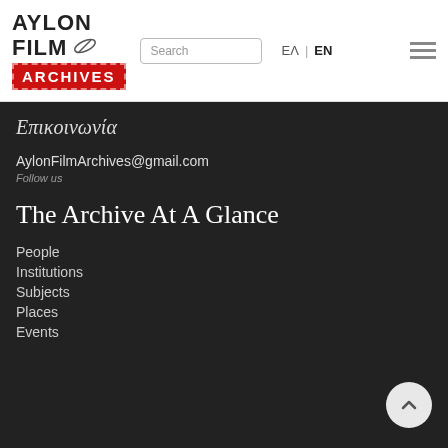AYLON FILM ARCHIVES | Search | ΕΛ | EN
Επικοινωνία
AylonFilmArchives@gmail.com
Follow us
The Archive At A Glance
People
Institutions
Subjects
Places
Events